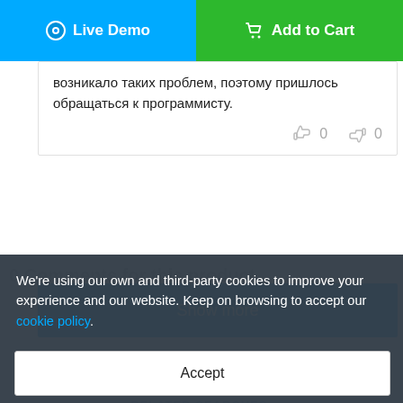[Figure (other): Blue 'Live Demo' button with eye icon on left, green 'Add to Cart' button with cart icon on right]
возникало таких проблем, поэтому пришлось обращаться к программисту.
0  0
Show more
0 Comments for this product
We're using our own and third-party cookies to improve your experience and our website. Keep on browsing to accept our cookie policy.
Accept
RELATED SEARCHES: